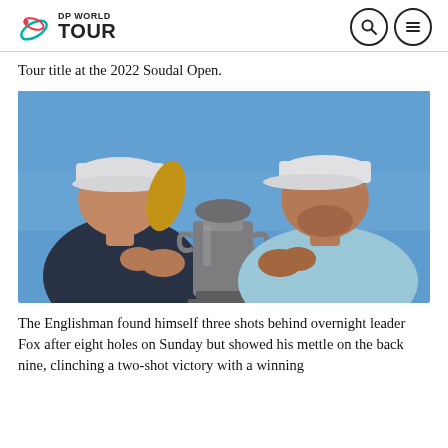DP WORLD TOUR
Tour title at the 2022 Soudal Open.
[Figure (photo): A man and a woman both kissing either side of a large trophy. The woman on the left wears a white cap and dark sleeveless top with blonde hair in a ponytail. The man on the right wears a white cap and light blue polo shirt. Blue sky in the background.]
The Englishman found himself three shots behind overnight leader Fox after eight holes on Sunday but showed his mettle on the back nine, clinching a two-shot victory with a winning